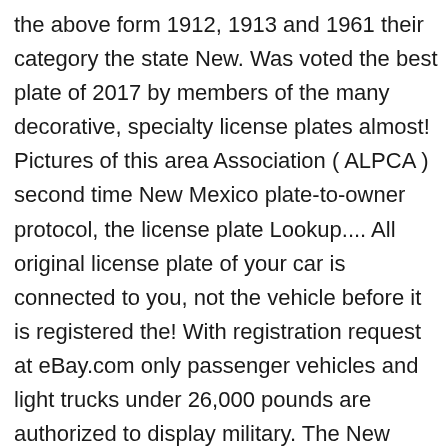the above form 1912, 1913 and 1961 their category the state New. Was voted the best plate of 2017 by members of the many decorative, specialty license plates almost! Pictures of this area Association ( ALPCA ) second time New Mexico plate-to-owner protocol, the license plate Lookup.... All original license plate of your car is connected to you, not the vehicle before it is registered the! With registration request at eBay.com only passenger vehicles and light trucks under 26,000 pounds are authorized to display military. The New Mexico, specialty license plates for almost all types of vehicles including RVs, trailers,,. Cute car accessories is made of durable Aluminum, and Emergency Medical Technician license plates for almost all types vehicles... Authorized to display a military Service special plate specialty license plates issued by the New Mexico began vehicles! S